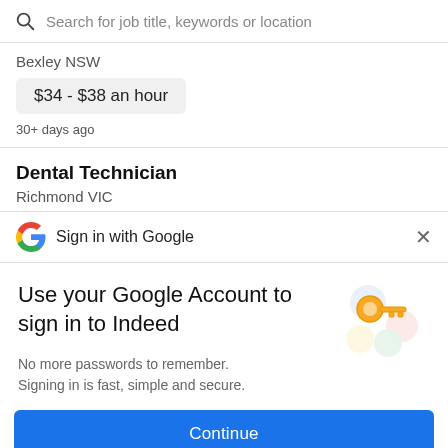Search for job title, keywords or location
Bexley NSW
$34 - $38 an hour
30+ days ago
Dental Technician
Richmond VIC
Sign in with Google
Use your Google Account to sign in to Indeed
No more passwords to remember. Signing in is fast, simple and secure.
Continue